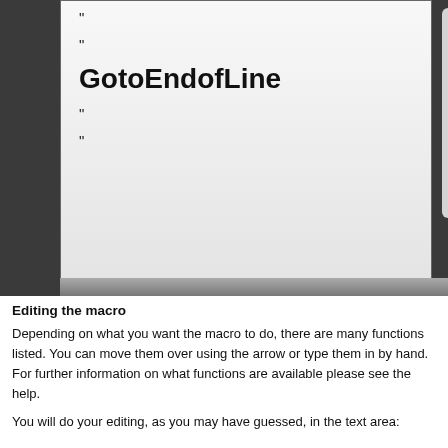[Figure (screenshot): A UI screenshot showing a macro editor panel with code items including quotation marks and 'GotoEndofLine' text in the left pane, and a 'Hotkey:' label in the right grey panel.]
Editing the macro
Depending on what you want the macro to do, there are many functions listed. You can move them over using the arrow or type them in by hand. For further information on what functions are available please see the help.
You will do your editing, as you may have guessed, in the text area: